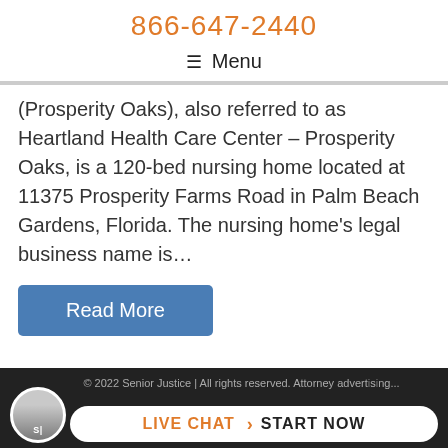866-647-2440
☰ Menu
(Prosperity Oaks), also referred to as Heartland Health Care Center – Prosperity Oaks, is a 120-bed nursing home located at 11375 Prosperity Farms Road in Palm Beach Gardens, Florida. The nursing home's legal business name is…
Read More
Woodland Behavioral and Nursing Center Investigated for Negligence and Abuse
© 2022 Senior Justice | All rights reserved. Attorney advertising…
LIVE CHAT › START NOW